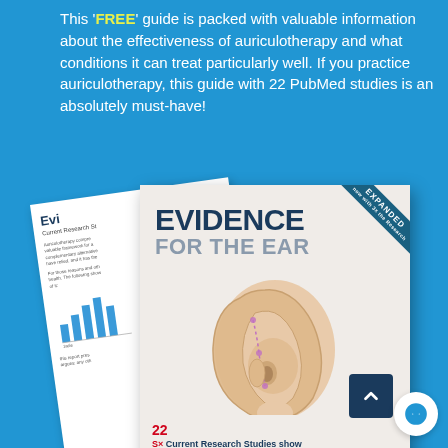This *FREE* guide is packed with valuable information about the effectiveness of auriculotherapy and what conditions it can treat particularly well. If you practice auriculotherapy, this guide with 22 PubMed studies is an absolutely must-have!
[Figure (photo): Book cover titled 'EVIDENCE FOR THE EAR' with an image of a human ear, an 'EXPANDED now with 3x the Research' banner, and a footer noting '22 Current Research Studies show Auriculotherapy isn't just for Pain'. A tilted back-page preview is visible behind the main cover.]